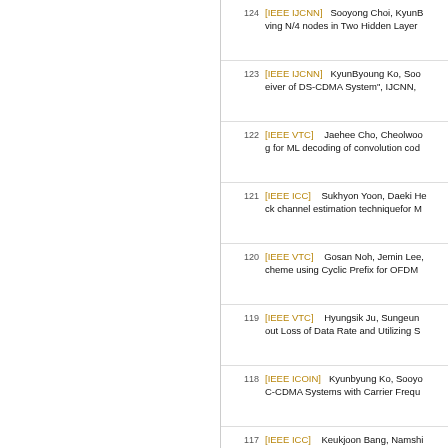124 [IEEE IJCNN] Sooyong Choi, KyunB... ving N/4 nodes in Two Hidden Layer
123 [IEEE IJCNN] KyunByoung Ko, Soo... eiver of DS-CDMA System", IJCNN,
122 [IEEE VTC] Jaehee Cho, Cheolwoo... g for ML decoding of convolution cod
121 [IEEE ICC] Sukhyon Yoon, Daeki He... ck channel estimation techniquefor M
120 [IEEE VTC] Gosan Noh, Jemin Lee,... cheme using Cyclic Prefix for OFDM
119 [IEEE VTC] Hyungsik Ju, Sungeun ... out Loss of Data Rate and Utilizing S
118 [IEEE ICOIN] Kyunbyung Ko, Sooyo... C-CDMA Systems with Carrier Frequ
117 [IEEE ICC] Keukjoon Bang, Namshi... arse Frequency Offset Estimation in IEEE ICC, Jun. 2000
116 [IEEE ICC] Hayoung Yang, Sungsoe... with a Reduced Iterative Turbo Deco
115 [IEEE ICC] Jeongho Park, Sukhyon... stimation in an M-ary Orthogonal DS